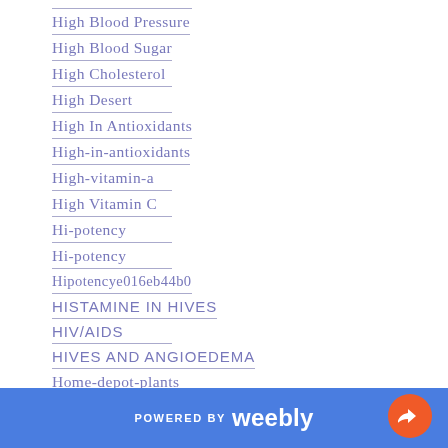High Blood Pressure
High Blood Sugar
High Cholesterol
High Desert
High In Antioxidants
High-in-antioxidants
High-vitamin-a
High Vitamin C
Hi-potency
Hi-potency
Hipotencye016eb44b0
HISTAMINE IN HIVES
HIV/AIDS
HIVES AND ANGIOEDEMA
Home-depot-plants
Homestead
Homestead-gardening
POWERED BY weebly